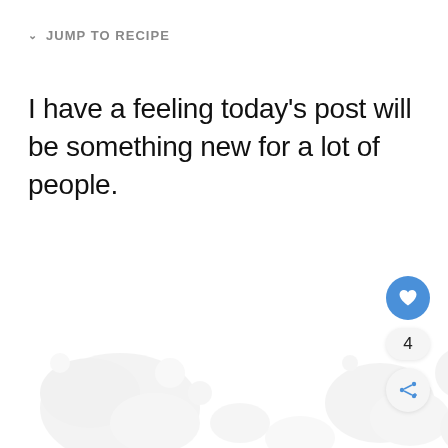JUMP TO RECIPE
I have a feeling today's post will be something new for a lot of people.
[Figure (illustration): Blue circular heart/like button with white heart icon, a count badge showing '4', and a circular share button with a share icon, positioned on the right side]
[Figure (photo): Faint watermark background image showing what appears to be food or floral elements in very light gray tones]